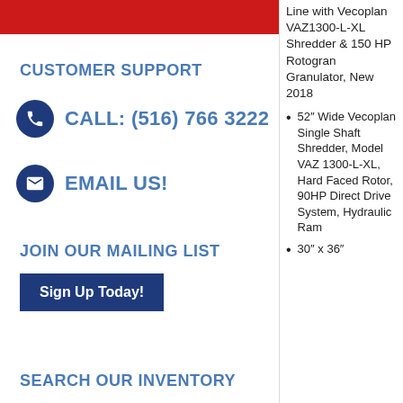[Figure (other): Red banner bar at top of left column]
CUSTOMER SUPPORT
CALL: (516) 766 3222
EMAIL US!
JOIN OUR MAILING LIST
Sign Up Today!
SEARCH OUR INVENTORY
Line with Vecoplan VAZ1300-L-XL Shredder & 150 HP Rotogran Granulator, New 2018
52" Wide Vecoplan Single Shaft Shredder, Model VAZ 1300-L-XL, Hard Faced Rotor, 90HP Direct Drive System, Hydraulic Ram
30" x 36"
Translate »